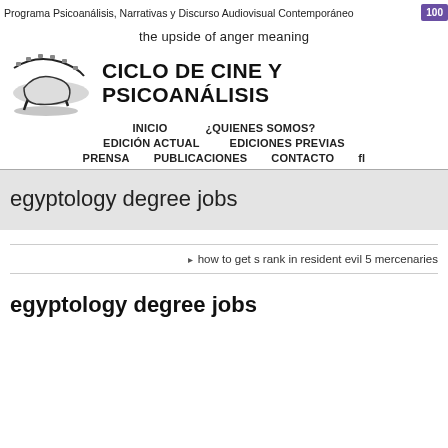Programa Psicoanálisis, Narrativas y Discurso Audiovisual Contemporáneo
the upside of anger meaning
[Figure (logo): Film reel / lounge chair logo for Ciclo de Cine y Psicoanálisis]
CICLO DE CINE Y PSICOANÁLISIS
INICIO  ¿QUIENES SOMOS?  EDICIÓN ACTUAL  EDICIONES PREVIAS  PRENSA  PUBLICACIONES  CONTACTO
egyptology degree jobs
how to get s rank in resident evil 5 mercenaries
egyptology degree jobs